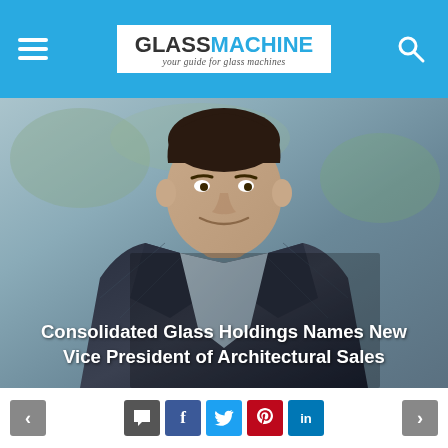GLASSMACHINE your guide for glass machines
[Figure (photo): Portrait photo of a man in a dark plaid blazer and light blue shirt, smiling, with an outdoor blurred background]
Consolidated Glass Holdings Names New Vice President of Architectural Sales